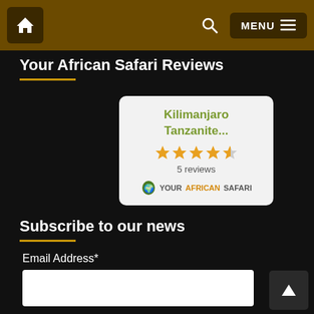Navigation bar with home icon, search icon, and MENU button
Your African Safari Reviews
[Figure (infographic): Review card for Kilimanjaro Tanzanite... showing 4.5 star rating and 5 reviews from YourAfricanSafari]
Subscribe to our news
Email Address*
Email address input field